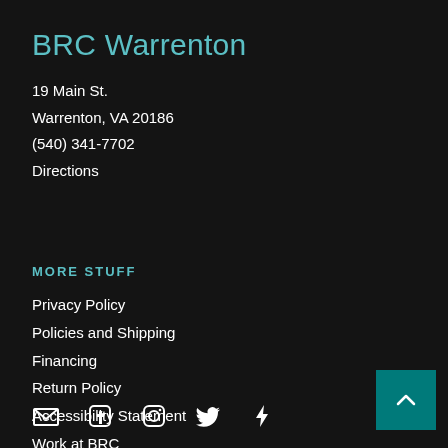BRC Warrenton
19 Main St.
Warrenton, VA 20186
(540) 341-7702
Directions
MORE STUFF
Privacy Policy
Policies and Shipping
Financing
Return Policy
Accessibility Statement
Work at BRC
[Figure (other): Social media icons: email, Facebook, Instagram, Twitter, and a lightning bolt/Strava icon]